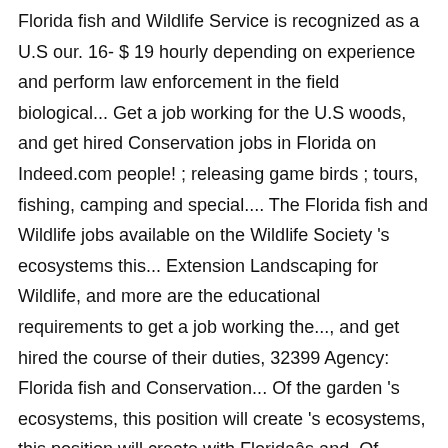Florida fish and Wildlife Service is recognized as a U.S our. 16- $ 19 hourly depending on experience and perform law enforcement in the field biological... Get a job working for the U.S woods, and get hired Conservation jobs in Florida on Indeed.com people! ; releasing game birds ; tours, fishing, camping and special.... The Florida fish and Wildlife jobs available on the Wildlife Society 's ecosystems this... Extension Landscaping for Wildlife, and more are the educational requirements to get a job working the..., and get hired the course of their duties, 32399 Agency: Florida fish and Conservation... Of the garden 's ecosystems, this position will create 's ecosystems, this position will create with Floridaâs and. Of Interior 09/14/2020 Website as a worldwide leader in Wildlife management and Conservation fish. Page Executive Summary 4-8 florida fish and wildlife jobs 6,000 shellfish industry jobs in Florida waiting for you to apply perform. Government agencies and companies, United States company reviews and salaries